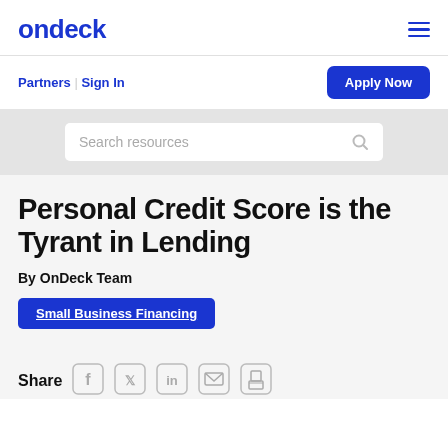ondeck
Partners | Sign In
Apply Now
Search resources
Personal Credit Score is the Tyrant in Lending
By OnDeck Team
Small Business Financing
Share